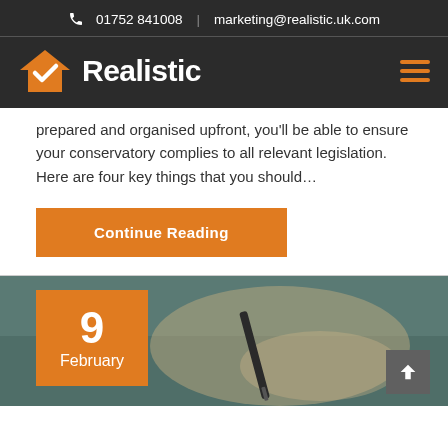01752 841008 | marketing@realistic.uk.com
[Figure (logo): Realistic company logo with orange house icon and white text 'Realistic' on dark background, with orange hamburger menu icon on right]
prepared and organised upfront, you'll be able to ensure your conservatory complies to all relevant legislation. Here are four key things that you should…
Continue Reading
[Figure (photo): Photo of a person writing with a pen, with an orange date badge showing '9 February' in the bottom left corner, and a scroll-up button in the bottom right]